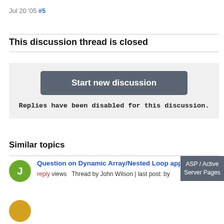Jul 20 '05 #5
This discussion thread is closed
Start new discussion
Replies have been disabled for this discussion.
Similar topics
Question on Dynamic Array/Nested Loop approach
reply views Thread by John Wilson | last post: by
ASP / Active Server Pages